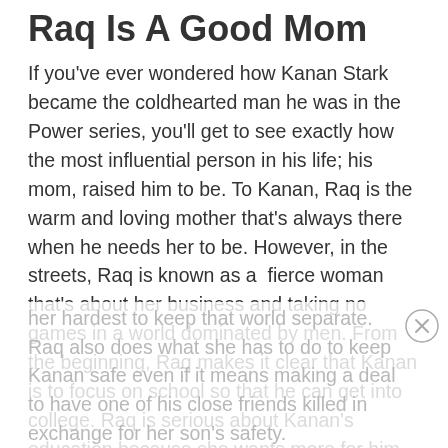Raq Is A Good Mom
If you've ever wondered how Kanan Stark became the coldhearted man he was in the Power series, you'll get to see exactly how the most influential person in his life; his mom, raised him to be. To Kanan, Raq is the warm and loving mother that's always there when he needs her to be. However, in the streets, Raq is known as a  fierce woman that's about her business and taking no games in a world dominated by men. From the beginning, Raq makes it clear that Kanan is to focus on school so that he can get into college. Raq is serious about Kanan's education because she wants more for him. She doesn't want him anywhere near the drug business which is why she tries
her hardest to keep that world separate. Raq also does what she has to do to keep Kanan safe even if it means making a deal to have one of his close friends killed in exchange for her son's safety.